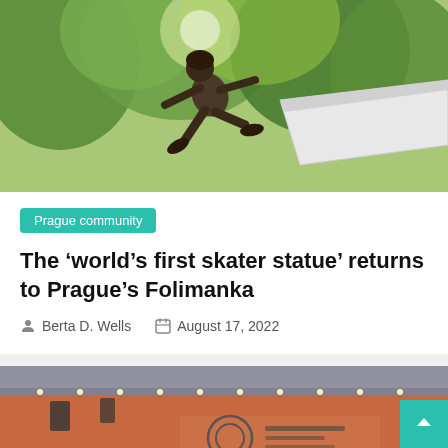[Figure (photo): Bronze skater statue mid-jump over a ramp, surrounded by green trees with sunlight filtering through]
Prague community
The ‘world’s first skater statue’ returns to Prague’s Folimanka
Berta D. Wells   August 17, 2022
[Figure (photo): Interior of a venue with orange/red walls, ceiling lights, and what appears to be a logo or sign on the wall]